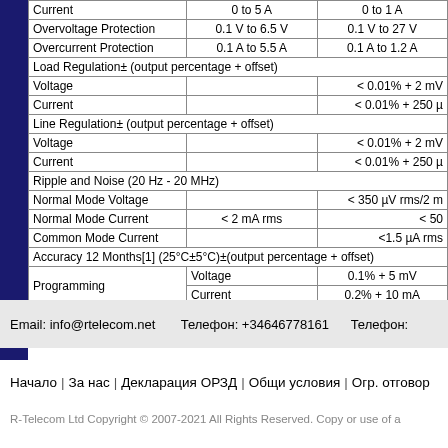| Parameter | Sub-param | Channel 1 | Channel 2 |
| --- | --- | --- | --- |
| Current |  | 0 to 5 A | 0 to 1 A |
| Overvoltage Protection |  | 0.1 V to 6.5 V | 0.1 V to 27 V |
| Overcurrent Protection |  | 0.1 A to 5.5 A | 0.1 A to 1.2 A |
| Load Regulation± (output percentage + offset) |  |  |  |
| Voltage |  |  | < 0.01% + 2 mV |
| Current |  |  | < 0.01% + 250 µ |
| Line Regulation± (output percentage + offset) |  |  |  |
| Voltage |  |  | < 0.01% + 2 mV |
| Current |  |  | < 0.01% + 250 µ |
| Ripple and Noise (20 Hz - 20 MHz) |  |  |  |
| Normal Mode Voltage |  |  | < 350 µV rms/2 m |
| Normal Mode Current |  | < 2 mA rms | < 50 |
| Common Mode Current |  |  | <1.5 µA rms |
| Accuracy 12 Months[1] (25°C±5°C)±(output percentage + offset) |  |  |  |
| Programming | Voltage | 0.1% + 5 mV | 0.05% |
|  | Current | 0.2% + 10 mA | 0.15 |
| Read Back | Voltage | 0.1% + 5 mV | 0.05% |
|  | Current | 0.2% + 10 mA | 0.15 |
Email: info@rtelecom.net        Телефон: +34646778161        Телефон:
Начало  |  За нас  |  Декларация ОРЗД  |  Общи условия  |  Огр. отговор
R-Telecom Ltd Copyright © 2007-2021 All Rights Reserved. Copy or use of a